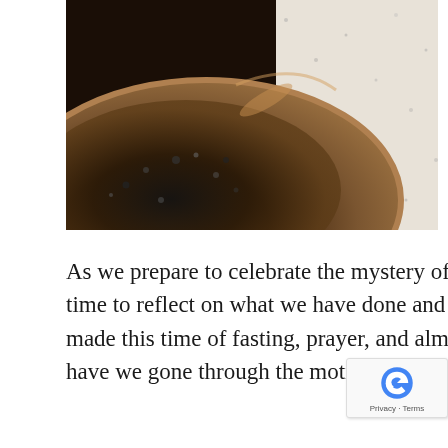[Figure (photo): Close-up photograph of a bowl or dish containing ashes, dark and earthy tones with a metallic rim, against a bright speckled background. Evokes Ash Wednesday / Lenten tradition.]
As we prepare to celebrate the mystery of the Resurrection this Sunday, it is an opportune time to reflect on what we have done and experienced during our Lenten journey. Have we made this time of fasting, prayer, and almsgiving a renewal for the joyous dawn of Easter? Or have we gone through the motions and failed to